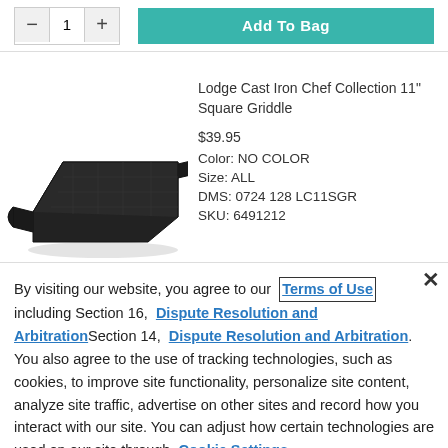[Figure (screenshot): Quantity selector with minus, 1, plus buttons and teal Add To Bag button]
Lodge Cast Iron Chef Collection 11" Square Griddle
$39.95
Color: NO COLOR
Size: ALL
DMS: 0724 128 LC11SGR
SKU: 6491212
[Figure (photo): Black cast iron square griddle pan viewed from above at an angle]
By visiting our website, you agree to our Terms of Use including Section 16, Dispute Resolution and Arbitration Section 14, Dispute Resolution and Arbitration. You also agree to the use of tracking technologies, such as cookies, to improve site functionality, personalize site content, analyze site traffic, advertise on other sites and record how you interact with our site. You can adjust how certain technologies are used on our site through Cookie Settings.